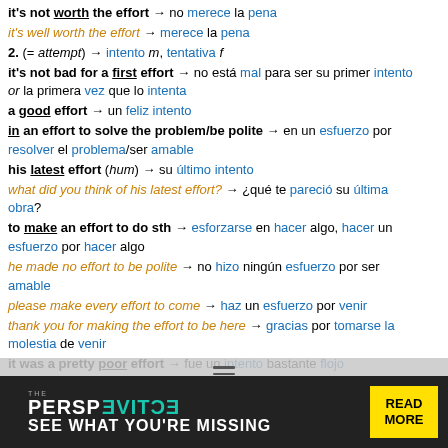it's not worth the effort → no merece la pena
it's well worth the effort → merece la pena
2. (= attempt) → intento m, tentativa f
it's not bad for a first effort → no está mal para ser su primer intento or la primera vez que lo intenta
a good effort → un feliz intento
in an effort to solve the problem/be polite → en un esfuerzo por resolver el problema/ser amable
his latest effort (hum) → su último intento
what did you think of his latest effort? → ¿qué te pareció su última obra?
to make an effort to do sth → esforzarse en hacer algo, hacer un esfuerzo por hacer algo
he made no effort to be polite → no hizo ningún esfuerzo por ser amable
please make every effort to come → haz un esfuerzo por venir
thank you for making the effort to be here → gracias por tomarse la molestia de venir
it was a pretty poor effort → fue un intento bastante flojo
the war effort los esfuerzos re…s por la población civil durante…
[Figure (screenshot): Advertisement banner for 'The Perspective' publication with teal and black background, yellow 'READ MORE' button]